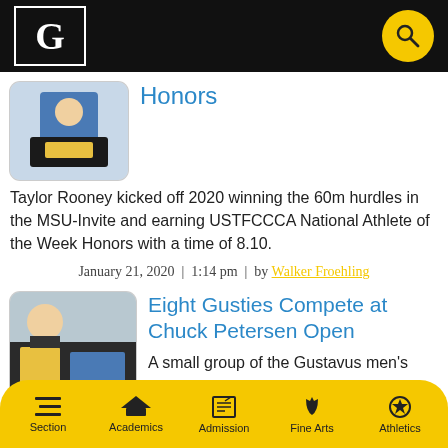Gustavus Adolphus College – navigation header with logo and search
Honors
Taylor Rooney kicked off 2020 winning the 60m hurdles in the MSU-Invite and earning USTFCCCA National Athlete of the Week Honors with a time of 8.10.
January 21, 2020 |  1:14 pm  |  by Walker Froehling
Eight Gusties Compete at Chuck Petersen Open
A small group of the Gustavus men's
Section | Academics | Admission | Fine Arts | Athletics